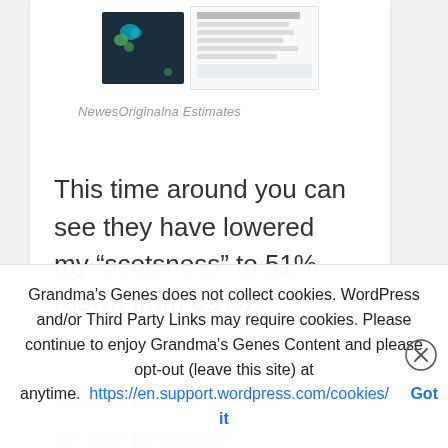[Figure (screenshot): Screenshot thumbnail showing a dark map with teal/green markers on the left, and a data table panel on the right with rows of text]
NewesOriginalna Estimates
This time around you can see they have lowered my “scotsness” to 51% (down from 69%), AND they picked up on my probable Welsh/Scottish line – Waits! Not terribly significant
Grandma's Genes does not collect cookies. WordPress and/or Third Party Links may require cookies. Please continue to enjoy Grandma's Genes Content and please opt-out (leave this site) at anytime. https://en.support.wordpress.com/cookies/ Got it